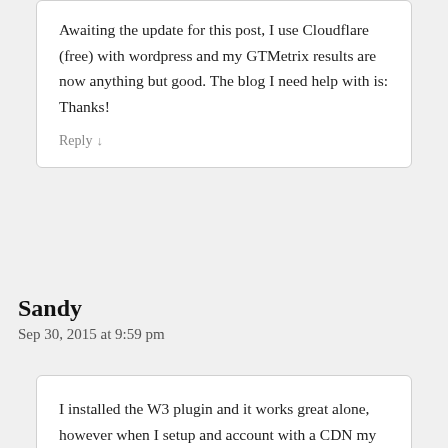Awaiting the update for this post, I use Cloudflare (free) with wordpress and my GTMetrix results are now anything but good. The blog I need help with is:
Thanks!
Reply ↓
Sandy
Sep 30, 2015 at 9:59 pm
I installed the W3 plugin and it works great alone, however when I setup and account with a CDN my whole site slowed down to less than half the speed. Error 8...